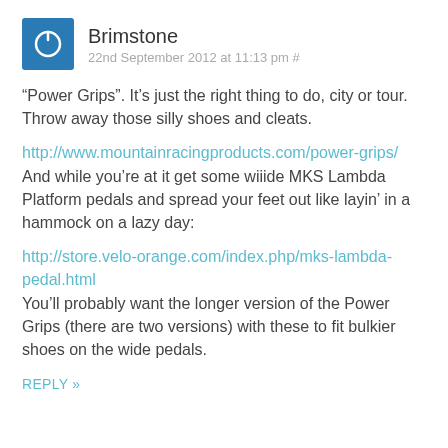Brimstone
22nd September 2012 at 11:13 pm #
“Power Grips”. It’s just the right thing to do, city or tour. Throw away those silly shoes and cleats.
http://www.mountainracingproducts.com/power-grips/
And while you’re at it get some wiiide MKS Lambda Platform pedals and spread your feet out like layin’ in a hammock on a lazy day:
http://store.velo-orange.com/index.php/mks-lambda-pedal.html
You’ll probably want the longer version of the Power Grips (there are two versions) with these to fit bulkier shoes on the wide pedals.
REPLY »